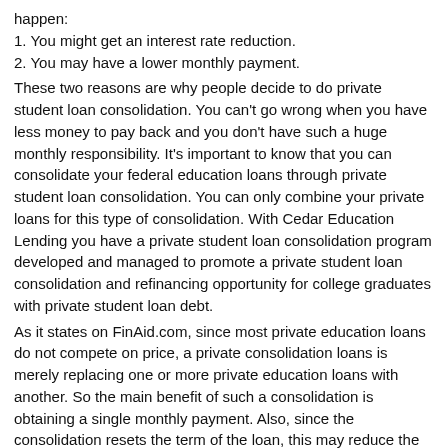happen:
1. You might get an interest rate reduction.
2. You may have a lower monthly payment.
These two reasons are why people decide to do private student loan consolidation. You can't go wrong when you have less money to pay back and you don't have such a huge monthly responsibility. It's important to know that you can consolidate your federal education loans through private student loan consolidation. You can only combine your private loans for this type of consolidation. With Cedar Education Lending you have a private student loan consolidation program developed and managed to promote a private student loan consolidation and refinancing opportunity for college graduates with private student loan debt.
As it states on FinAid.com, since most private education loans do not compete on price, a private consolidation loans is merely replacing one or more private education loans with another. So the main benefit of such a consolidation is obtaining a single monthly payment. Also, since the consolidation resets the term of the loan, this may reduce the monthly payment (at a cost, of course, of increasing the total interest paid over the lifetime of the loan).
There are many in advantages to private student loan consolidation programs. The question is will you take advantage of them! Contact us today so we can help you with your private student loan consolidation program!
PRIVATE STUDENT LOAN CONSOLIDATION